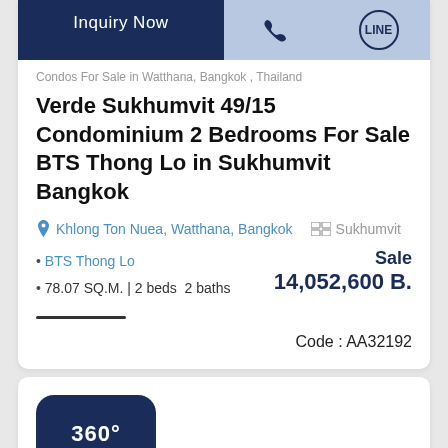Inquiry Now
Condos For Sale in Watthana, Bangkok , Thailand
Verde Sukhumvit 49/15 Condominium 2 Bedrooms For Sale BTS Thong Lo in Sukhumvit Bangkok
Khlong Ton Nuea, Watthana, Bangkok   Sukhumvit
BTS Thong Lo
78.07 SQ.M. | 2 beds  2 baths
Sale
14,052,600 B.
Code : AA32192
[Figure (other): 360 degree virtual tour button with circular arrow icon]